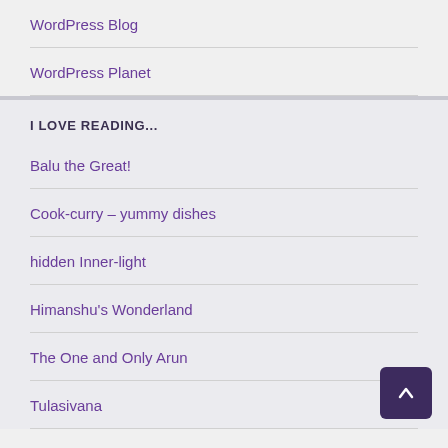WordPress Blog
WordPress Planet
I LOVE READING...
Balu the Great!
Cook-curry – yummy dishes
hidden Inner-light
Himanshu's Wonderland
The One and Only Arun
Tulasivana